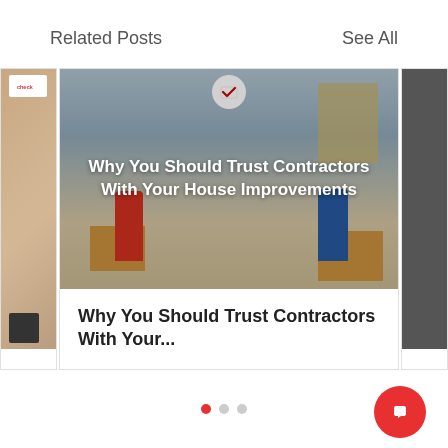Related Posts
See All
[Figure (photo): Partial left card with photo]
[Figure (photo): Center card with photo of two movers in red and blue carrying boxes, with overlay text: Why You Should Trust Contractors With Your House Improvements]
Why You Should Trust Contractors With Your...
0
[Figure (photo): Partial right card with dark photo]
[Figure (other): Pagination dots — first dot active (red), two grey dots]